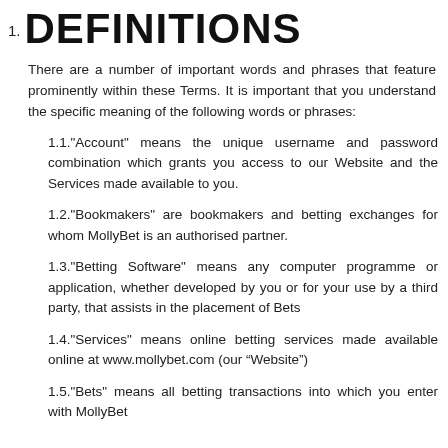1. DEFINITIONS
There are a number of important words and phrases that feature prominently within these Terms. It is important that you understand the specific meaning of the following words or phrases:
1.1."Account" means the unique username and password combination which grants you access to our Website and the Services made available to you.
1.2."Bookmakers" are bookmakers and betting exchanges for whom MollyBet is an authorised partner.
1.3."Betting Software" means any computer programme or application, whether developed by you or for your use by a third party, that assists in the placement of Bets
1.4."Services" means online betting services made available online at www.mollybet.com (our “Website”)
1.5."Bets" means all betting transactions into which you enter with MollyBet